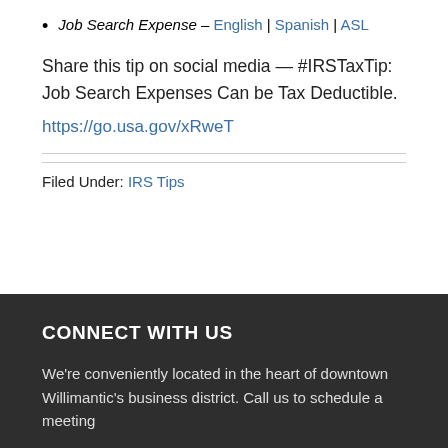Job Search Expense – English | Spanish | ASL
Share this tip on social media — #IRSTaxTip: Job Search Expenses Can be Tax Deductible.
https://go.usa.gov/xRweT
Filed Under: IRS Tips
CONNECT WITH US
We're conveniently located in the heart of downtown Willimantic's business district. Call us to schedule a meeting